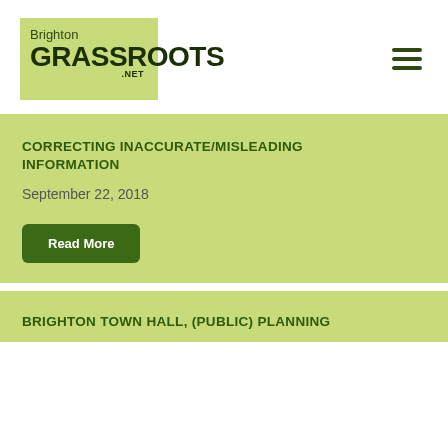[Figure (logo): Brighton Grassroots .net logo on a light green background]
CORRECTING INACCURATE/MISLEADING INFORMATION
September 22, 2018
Read More
BRIGHTON TOWN HALL, (PUBLIC) PLANNING